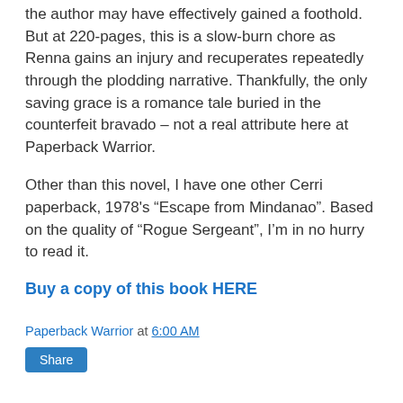the author may have effectively gained a foothold. But at 220-pages, this is a slow-burn chore as Renna gains an injury and recuperates repeatedly through the plodding narrative. Thankfully, the only saving grace is a romance tale buried in the counterfeit bravado – not a real attribute here at Paperback Warrior.
Other than this novel, I have one other Cerri paperback, 1978's “Escape from Mindanao”. Based on the quality of “Rogue Sergeant”, I’m in no hurry to read it.
Buy a copy of this book HERE
Paperback Warrior at 6:00 AM
Share
No comments: